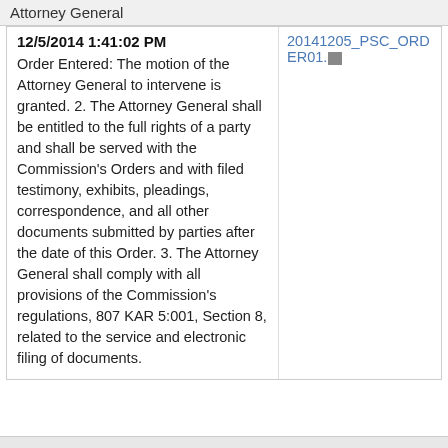Attorney General
12/5/2014 1:41:02 PM
20141205_PSC_ORDER01.[icon]
Order Entered: The motion of the Attorney General to intervene is granted. 2. The Attorney General shall be entitled to the full rights of a party and shall be served with the Commission's Orders and with filed testimony, exhibits, pleadings, correspondence, and all other documents submitted by parties after the date of this Order. 3. The Attorney General shall comply with all provisions of the Commission's regulations, 807 KAR 5:001, Section 8, related to the service and electronic filing of documents.